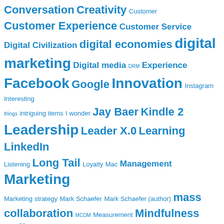[Figure (infographic): Tag cloud with various marketing, technology, and business terms in different font sizes, all in blue. Larger terms include: digital marketing, Marketing, Leadership, Facebook, Customer Experience, Innovation. Smaller terms include: Customer, DRM, MCDM, Listening, Mac, Loyalty, Interesting things, intriguing items, I wonder.]